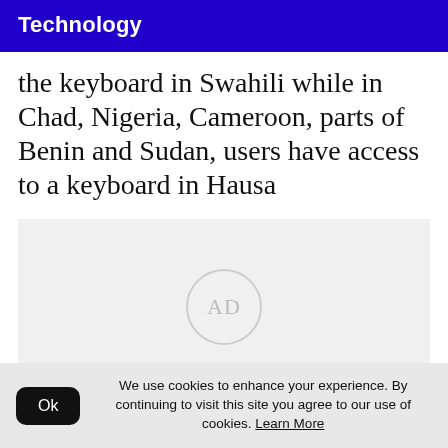Technology
the keyboard in Swahili while in Chad, Nigeria, Cameroon, parts of Benin and Sudan, users have access to a keyboard in Hausa
[Figure (other): Advertisement placeholder box with 'AD' text in a circle]
We use cookies to enhance your experience. By continuing to visit this site you agree to our use of cookies. Learn More